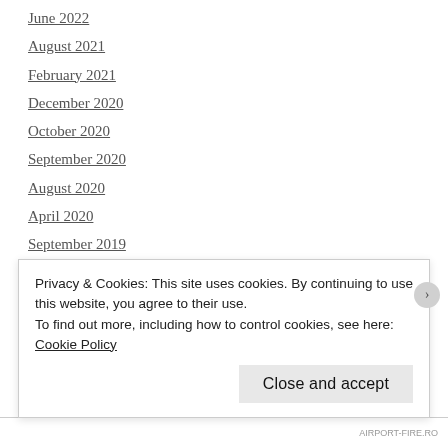June 2022
August 2021
February 2021
December 2020
October 2020
September 2020
August 2020
April 2020
September 2019
May 2019
April 2019
January 2019
December 2018
Privacy & Cookies: This site uses cookies. By continuing to use this website, you agree to their use.
To find out more, including how to control cookies, see here: Cookie Policy
AIRPORT-FIRE.RO